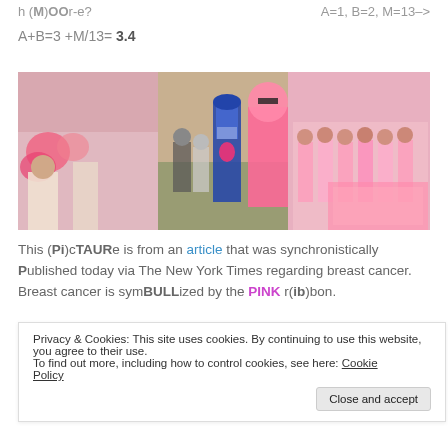h (M)OOr-e?
A=1, B=2, M=13-->
[Figure (photo): Crowd of people in pink clothing at an outdoor event, appears to be a breast cancer awareness event with NFL branding]
This (Pi)cTAURe is from an article that was synchronistically Published today via The New York Times regarding breast cancer. Breast cancer is symBULLized by the PINK r(ib)bon.
[Figure (screenshot): Article preview with black background and red 'Start reading' button]
Privacy & Cookies: This site uses cookies. By continuing to use this website, you agree to their use.
To find out more, including how to control cookies, see here: Cookie Policy
Close and accept